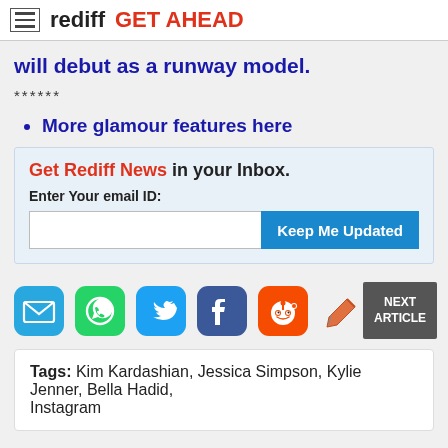rediff GET AHEAD
will debut as a runway model.
******
More glamour features here
Get Rediff News in your Inbox. Enter Your email ID: [Keep Me Updated]
[Figure (infographic): Social share icons: email, WhatsApp, Twitter, Facebook, Reddit, pencil/edit. NEXT ARTICLE button on the right.]
Tags: Kim Kardashian, Jessica Simpson, Kylie Jenner, Bella Hadid, Instagram